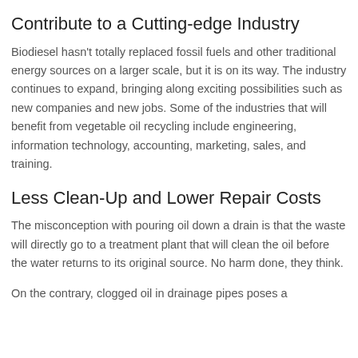Contribute to a Cutting-edge Industry
Biodiesel hasn't totally replaced fossil fuels and other traditional energy sources on a larger scale, but it is on its way. The industry continues to expand, bringing along exciting possibilities such as new companies and new jobs. Some of the industries that will benefit from vegetable oil recycling include engineering, information technology, accounting, marketing, sales, and training.
Less Clean-Up and Lower Repair Costs
The misconception with pouring oil down a drain is that the waste will directly go to a treatment plant that will clean the oil before the water returns to its original source. No harm done, they think.
On the contrary, clogged oil in drainage pipes poses a